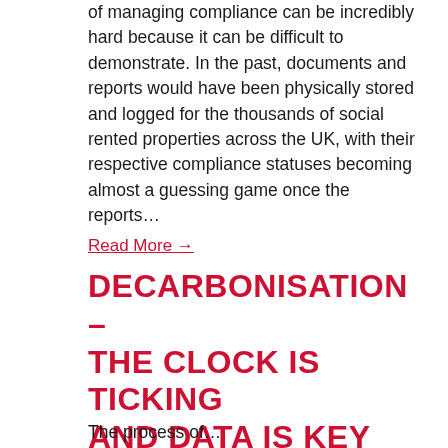of managing compliance can be incredibly hard because it can be difficult to demonstrate. In the past, documents and reports would have been physically stored and logged for the thousands of social rented properties across the UK, with their respective compliance statuses becoming almost a guessing game once the reports…
Read More →
DECARBONISATION – THE CLOCK IS TICKING AND DATA IS KEY
The process of…